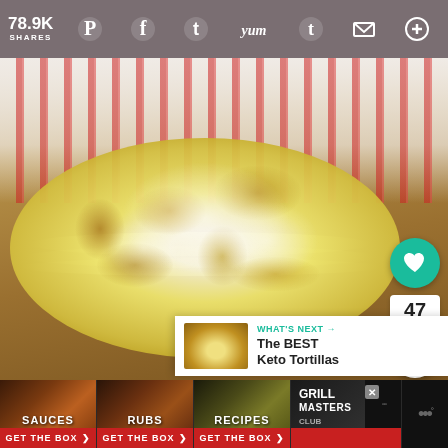78.9K SHARES — social share bar with Pinterest, Facebook, Twitter, Yummly, Tumblr, Email, More icons
[Figure (photo): Stack of homemade keto tortillas on a wooden cutting board with a red and white striped kitchen towel in the background. The tortillas appear golden-yellow with a lacy texture on top.]
47
WHAT'S NEXT → The BEST Keto Tortillas
[Figure (photo): Thumbnail image of keto tortillas for What's Next panel]
SAUCES   RUBS   RECIPES   GRILL MASTERS CLUB — GET THE BOX >